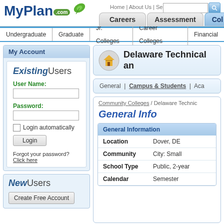[Figure (screenshot): MyPlan.com logo with green leaf]
Home | About Us | Search:
Careers | Assessment | Col
Undergraduate | Graduate | Jr. Colleges | Career Colleges | Financial
My Account
ExistingUsers
User Name:
Password:
Login automatically
Login
Forgot your password? Click here
NewUsers
Create Free Account
Delaware Technical an
General | Campus & Students | Aca
Community Colleges / Delaware Technic
General Info
| Field | Value |
| --- | --- |
| Location | Dover, DE |
| Community | City: Small |
| School Type | Public, 2-year |
| Calendar | Semester |